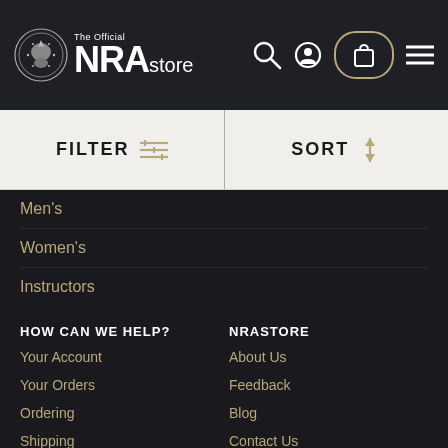The Official NRA store
FILTER   SORT
Men's
Women's
Instructors
HOW CAN WE HELP?
Your Account
Your Orders
Ordering
Shipping
Sales Tax
Returns
NRASTORE
About Us
Feedback
Blog
Contact Us